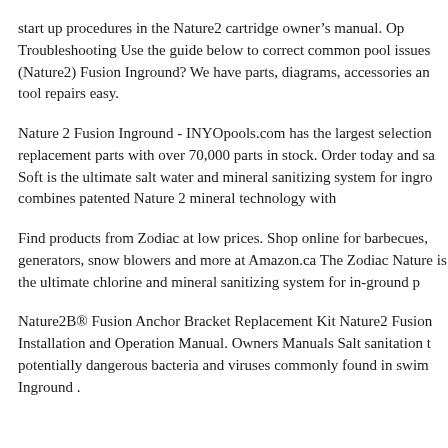start up procedures in the Nature2 cartridge owner's manual. Op Troubleshooting Use the guide below to correct common pool issues (Nature2) Fusion Inground? We have parts, diagrams, accessories an tool repairs easy.
Nature 2 Fusion Inground - INYOpools.com has the largest selection replacement parts with over 70,000 parts in stock. Order today and sa Soft is the ultimate salt water and mineral sanitizing system for ingro combines patented Nature 2 mineral technology with
Find products from Zodiac at low prices. Shop online for barbecues, generators, snow blowers and more at Amazon.ca The Zodiac Nature is the ultimate chlorine and mineral sanitizing system for in-ground p
Nature2B® Fusion Anchor Bracket Replacement Kit Nature2 Fusion Installation and Operation Manual. Owners Manuals Salt sanitation t potentially dangerous bacteria and viruses commonly found in swim Inground .